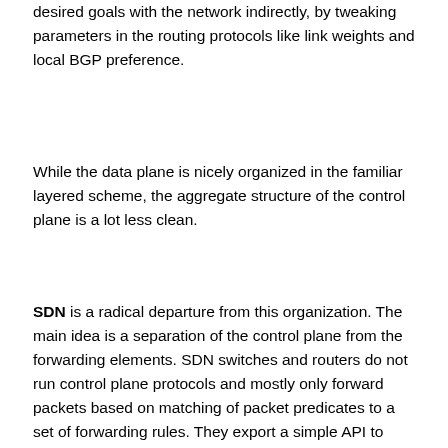desired goals with the network indirectly, by tweaking parameters in the routing protocols like link weights and local BGP preference.
While the data plane is nicely organized in the familiar layered scheme, the aggregate structure of the control plane is a lot less clean.
SDN is a radical departure from this organization. The main idea is a separation of the control plane from the forwarding elements. SDN switches and routers do not run control plane protocols and mostly only forward packets based on matching of packet predicates to a set of forwarding rules. They export a simple API to configure these rules, as well as some feedback about current and past packets. An accepted standard for this API is the OpenFlow protocol, which has been implemented by dozens of switch vendors and has fostered a rich software